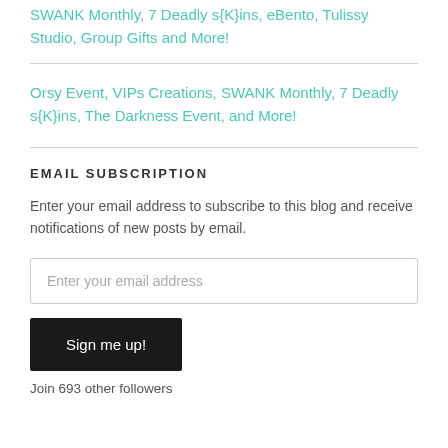SWANK Monthly, 7 Deadly s{K}ins, eBento, Tulissy Studio, Group Gifts and More!
Orsy Event, VIPs Creations, SWANK Monthly, 7 Deadly s{K}ins, The Darkness Event, and More!
EMAIL SUBSCRIPTION
Enter your email address to subscribe to this blog and receive notifications of new posts by email.
Enter your email address
Sign me up!
Join 693 other followers